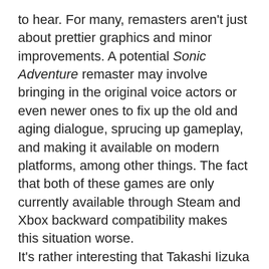to hear. For many, remasters aren't just about prettier graphics and minor improvements. A potential Sonic Adventure remaster may involve bringing in the original voice actors or even newer ones to fix up the old and aging dialogue, sprucing up gameplay, and making it available on modern platforms, among other things. The fact that both of these games are only currently available through Steam and Xbox backward compatibility makes this situation worse.
It's rather interesting that Takashi Iizuka spoke about how Sonic Team is unlikely to remaster these classic titles even when Sonic Origins is about to be released. However, while Sonic Team managed and put the collection together, the remasters seen in Origins were actually developed by devoted fans who were involved